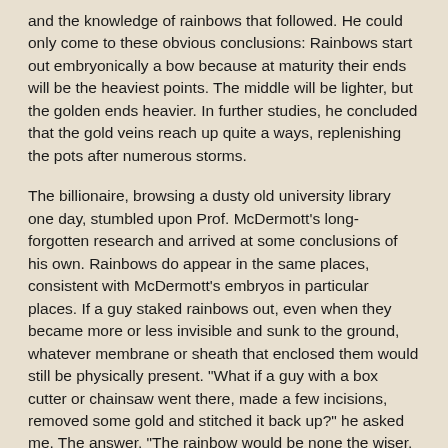and the knowledge of rainbows that followed. He could only come to these obvious conclusions: Rainbows start out embryonically a bow because at maturity their ends will be the heaviest points. The middle will be lighter, but the golden ends heavier. In further studies, he concluded that the gold veins reach up quite a ways, replenishing the pots after numerous storms.
The billionaire, browsing a dusty old university library one day, stumbled upon Prof. McDermott's long-forgotten research and arrived at some conclusions of his own. Rainbows do appear in the same places, consistent with McDermott's embryos in particular places. If a guy staked rainbows out, even when they became more or less invisible and sunk to the ground, whatever membrane or sheath that enclosed them would still be physically present. "What if a guy with a box cutter or chainsaw went there, made a few incisions, removed some gold and stitched it back up?" he asked me. The answer, "The rainbow would be none the wiser, it'd pop up during the next storm, and replenish whatever was missing, making it a virtual ATM!"